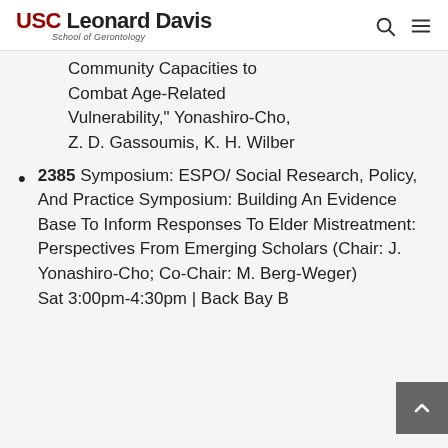USC Leonard Davis School of Gerontology
Community Capacities to Combat Age-Related Vulnerability," Yonashiro-Cho, Z. D. Gassoumis, K. H. Wilber
2385 Symposium: ESPO/ Social Research, Policy, And Practice Symposium: Building An Evidence Base To Inform Responses To Elder Mistreatment: Perspectives From Emerging Scholars (Chair: J. Yonashiro-Cho; Co-Chair: M. Berg-Weger)
Sat 3:00pm-4:30pm | Back Bay B